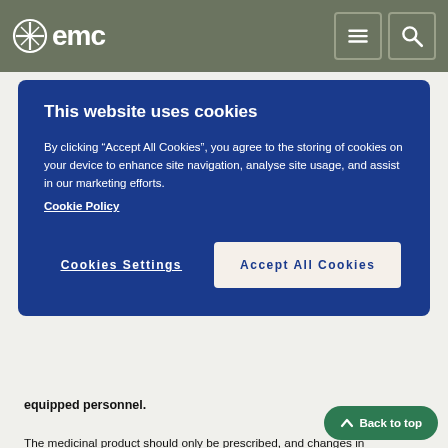emc
This website uses cookies
By clicking “Accept All Cookies”, you agree to the storing of cookies on your device to enhance site navigation, analyse site usage, and assist in our marketing efforts.
Cookie Policy
Cookies Settings    Accept All Cookies
equipped personnel.
The medicinal product should only be prescribed, and changes in immunosuppressive therapy initiated, by physicians experienced in immunosuppressive therapy and the management of transplant patients.
Inadvertent, unintentional or unsupervised switching of immediate- or prolonged-release formulations of tacrolimus is unsafe. This can lead to graft rejection or increased incidence of side effects, including under- or over immunosuppression, due to clinically relevant differences in systemic exposure to tacrolimus. Patients should be maintained on a single formulation of tacrolimus with the corresponding daily dosing regimen; alterations in formulation or regimen should only take place under close supervision of a transplant specialist (see sections 4.4 and 4.8).